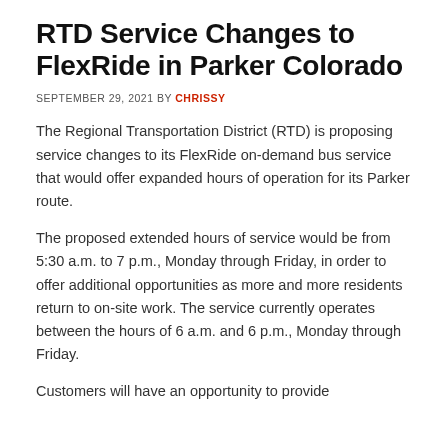RTD Service Changes to FlexRide in Parker Colorado
SEPTEMBER 29, 2021 BY CHRISSY
The Regional Transportation District (RTD) is proposing service changes to its FlexRide on-demand bus service that would offer expanded hours of operation for its Parker route.
The proposed extended hours of service would be from 5:30 a.m. to 7 p.m., Monday through Friday, in order to offer additional opportunities as more and more residents return to on-site work. The service currently operates between the hours of 6 a.m. and 6 p.m., Monday through Friday.
Customers will have an opportunity to provide